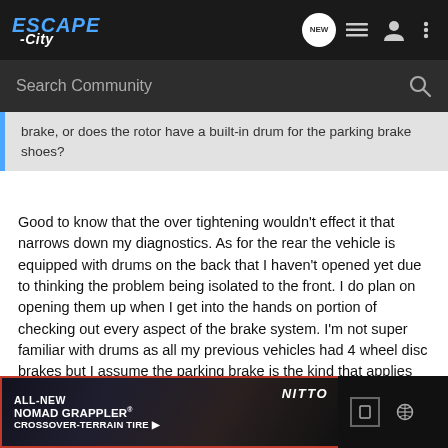[Figure (screenshot): Escape City community forum website header navigation bar with logo, NEW chat bubble, list icon, user icon, and more options icon]
[Figure (screenshot): Search Community bar with magnifying glass icon on dark background]
brake, or does the rotor have a built-in drum for the parking brake shoes?
Good to know that the over tightening wouldn't effect it that narrows down my diagnostics. As for the rear the vehicle is equipped with drums on the back that I haven't opened yet due to thinking the problem being isolated to the front. I do plan on opening them up when I get into the hands on portion of checking out every aspect of the brake system. I'm not super familiar with drums as all my previous vehicles had 4 wheel disc brakes but I assume the parking brake is the kind that applies pressure to the brake shoes?
[Figure (photo): Advertisement banner for Nitto ALL-NEW NOMAD GRAPPLER CROSSOVER-TERRAIN TIRE with dark background showing tire imagery]